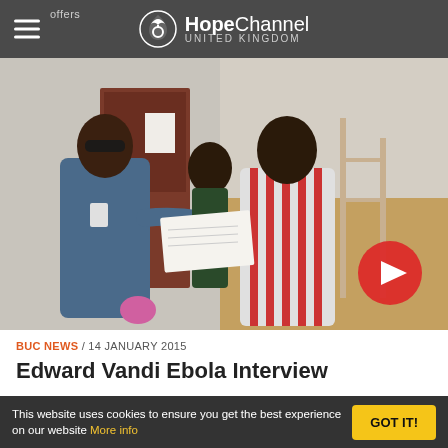HopeChannel UNITED KINGDOM
[Figure (photo): Two men reviewing a document outside a building. One wears blue scrubs with a badge and sunglasses, the other wears a red and white striped shirt. A third person is partially visible behind them. A construction scaffold is visible on the right. A red play button overlay is in the bottom-right corner.]
BUC NEWS / 14 JANUARY 2015
Edward Vandi Ebola Interview
Reading West church member, Edward Vandi, is heading back to Sierra Leone this week for a second stint as an NHS volunteer and will be working both in an Ebola clinic as well as
This website uses cookies to ensure you get the best experience on our website More info GOT IT!